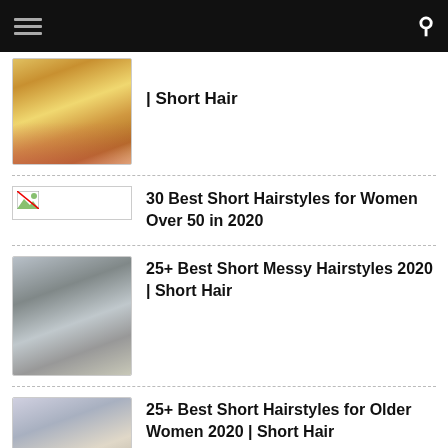| Short Hair
30 Best Short Hairstyles for Women Over 50 in 2020
25+ Best Short Messy Hairstyles 2020 | Short Hair
25+ Best Short Hairstyles for Older Women 2020 | Short Hair
25 Popular Black Hairstyles We're Loving Right Now